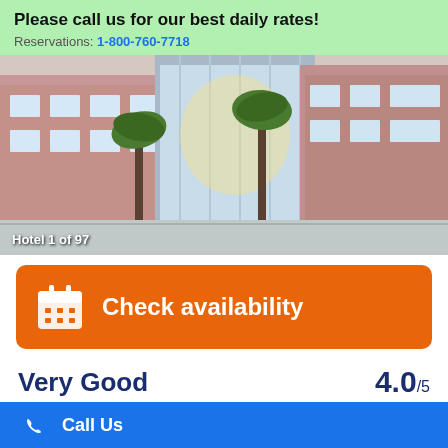Please call us for our best daily rates!
Reservations: 1-800-760-7718
[Figure (photo): Hotel exterior with palm trees and glass facade. Label reads 'Hotel 1 of 97'.]
Check availability
Very Good   4.0 /5
Based on 2885 guest reviews
Call Us